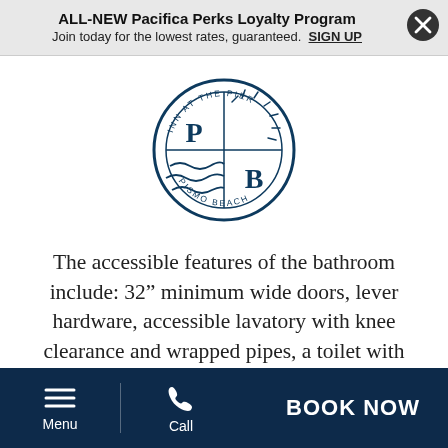ALL-NEW Pacifica Perks Loyalty Program
Join today for the lowest rates, guaranteed.  SIGN UP
[Figure (logo): Inn at the Pier Pismo Beach circular logo with letters P and B, sun rays and wave design, dark navy blue]
The accessible features of the bathroom include: 32" minimum wide doors, lever hardware, accessible lavatory with knee clearance and wrapped pipes, a toilet with compliant clearances for transfer and grab bars at the side and rear of the toilet, and accessible accessories. The accessible roll-in
Menu  Call  BOOK NOW